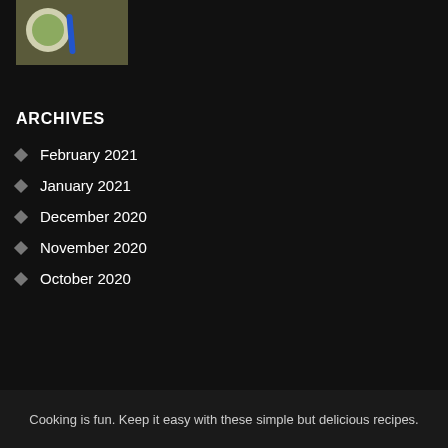[Figure (photo): A bowl of green dip/soup with a blue spoon on a wooden background]
ARCHIVES
February 2021
January 2021
December 2020
November 2020
October 2020
Cooking is fun. Keep it easy with these simple but delicious recipes.